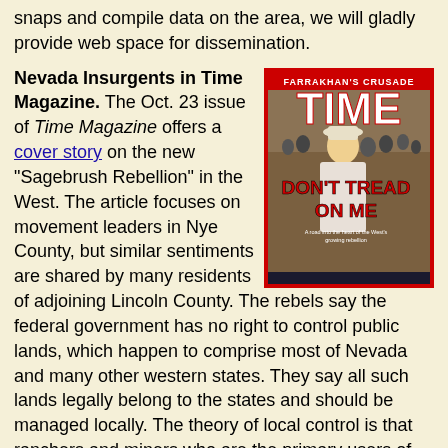snaps and compile data on the area, we will gladly provide web space for dissemination.
Nevada Insurgents in Time Magazine. The Oct. 23 issue of Time Magazine offers a cover story on the new "Sagebrush Rebellion" in the West. The article focuses on movement leaders in Nye County, but similar sentiments are shared by many residents of adjoining Lincoln County. The rebels say the federal government has no right to control public lands, which happen to comprise most of Nevada and many other western states. They say all such lands legally belong to the states and should be managed locally. The theory of local control is that ranchers and miners who are the primary users of public land will take better care of it than the distant Feds. This is rubbish in our opinion. Turning the land over to say, the voters of Lincoln County, will only assure the ultimate destruction and privatization of it as the mining, ranching and forestry industries run themselves into extinction. Nothing matters more to local politics than preserving jobs, and local voters will always sacrifice their long-term future in favor of keeping their friends and relatives in business. You may ask, How do you waste a wasteland? The desert, in fact, is very delicate. It may take
[Figure (photo): Time Magazine cover showing a man in a cowboy hat with text 'DON'T TREAD ON ME' and header 'FARRAKHAN'S CRUSADE'. Red border.]